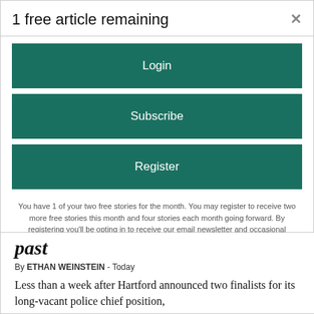1 free article remaining
[Figure (screenshot): Login button - dark teal/green rectangle with white text]
[Figure (screenshot): Subscribe button - dark teal/green rectangle with white text]
[Figure (screenshot): Register button - dark teal/green rectangle with white text]
You have 1 of your two free stories for the month. You may register to receive two more free stories this month and four stories each month going forward. By registering you'll be opting in to receive our email newsletter and occasional promotions. You may opt out at any time.
past
By ETHAN WEINSTEIN - Today
Less than a week after Hartford announced two finalists for its long-vacant police chief position,